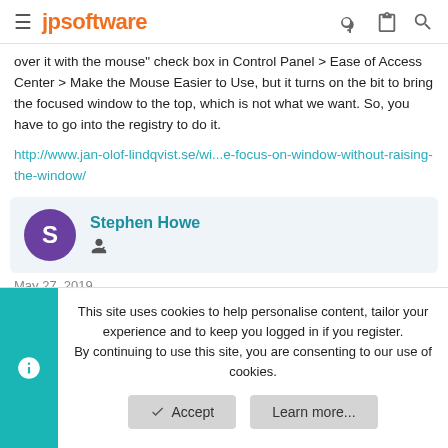jpsoftware
over it with the mouse" check box in Control Panel > Ease of Access Center > Make the Mouse Easier to Use, but it turns on the bit to bring the focused window to the top, which is not what we want. So, you have to go into the registry to do it.
http://www.jan-olof-lindqvist.se/wi...e-focus-on-window-without-raising-the-window/
Stephen Howe
May 27, 2019
This site uses cookies to help personalise content, tailor your experience and to keep you logged in if you register.
By continuing to use this site, you are consenting to our use of cookies.